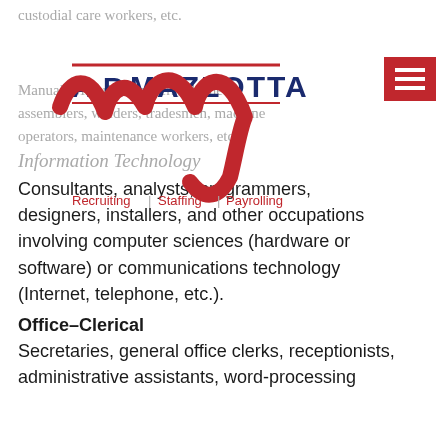custodial care workers, etc.
[Figure (logo): A.R. Mazzotta logo with stylized red M and tagline: Recruiting | Staffing | Payrolling]
Industrial: Material handlers, cleaners, assemblers, welders, tradesmen, machine operators, maintenance workers, etc.
Information Technology
Consultants, analysts, programmers, designers, installers, and other occupations involving computer sciences (hardware or software) or communications technology (Internet, telephone, etc.).
Office–Clerical
Secretaries, general office clerks, receptionists, administrative assistants, word-processing